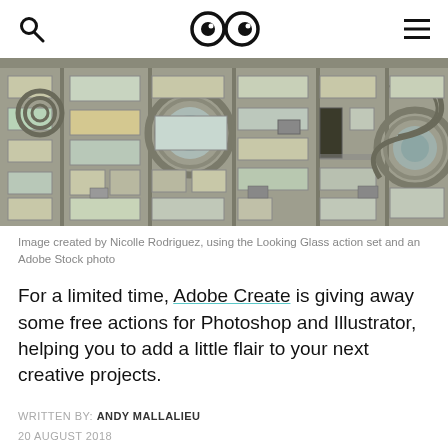Search | Logo (two eyes) | Menu
[Figure (photo): Photograph of a brutalist apartment building facade with circular decorative lens/eye elements, balconies, windows, and air conditioning units.]
Image created by Nicolle Rodriguez, using the Looking Glass action set and an Adobe Stock photo
For a limited time, Adobe Create is giving away some free actions for Photoshop and Illustrator, helping you to add a little flair to your next creative projects.
WRITTEN BY: ANDY MALLALIEU
20 AUGUST 2018